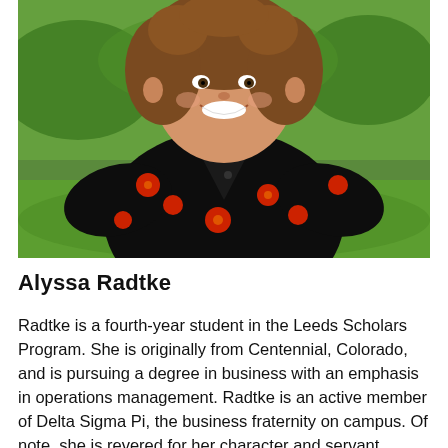[Figure (photo): Portrait photo of Alyssa Radtke, a young woman with curly brown hair, smiling, wearing a black dress with red floral pattern, standing outdoors with green grass and trees in the background.]
Alyssa Radtke
Radtke is a fourth-year student in the Leeds Scholars Program. She is originally from Centennial, Colorado, and is pursuing a degree in business with an emphasis in operations management. Radtke is an active member of Delta Sigma Pi, the business fraternity on campus. Of note, she is revered for her character and servant leadership with an innate sense of curiosity. She is